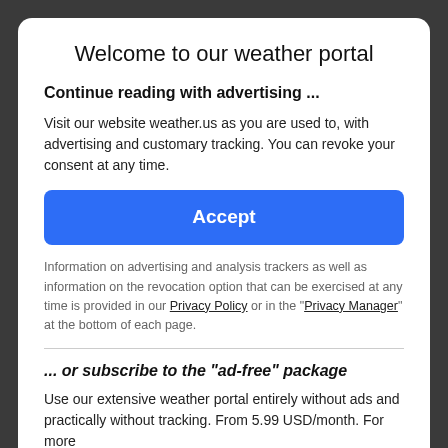Welcome to our weather portal
Continue reading with advertising ...
Visit our website weather.us as you are used to, with advertising and customary tracking. You can revoke your consent at any time.
[Figure (other): Blue Accept button]
Information on advertising and analysis trackers as well as information on the revocation option that can be exercised at any time is provided in our Privacy Policy or in the "Privacy Manager" at the bottom of each page.
... or subscribe to the "ad-free" package
Use our extensive weather portal entirely without ads and practically without tracking. From 5.99 USD/month. For more